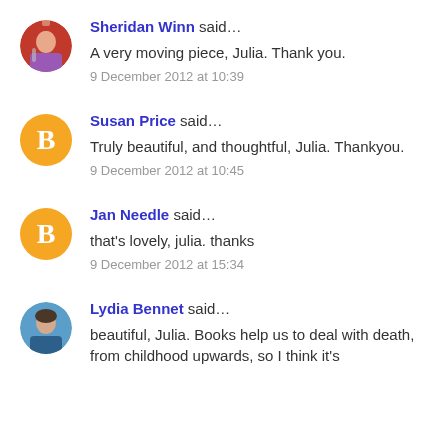Sheridan Winn said... A very moving piece, Julia. Thank you. 9 December 2012 at 10:39
Susan Price said... Truly beautiful, and thoughtful, Julia. Thankyou. 9 December 2012 at 10:45
Jan Needle said... that's lovely, julia. thanks 9 December 2012 at 15:34
Lydia Bennet said... beautiful, Julia. Books help us to deal with death, from childhood upwards, so I think it's